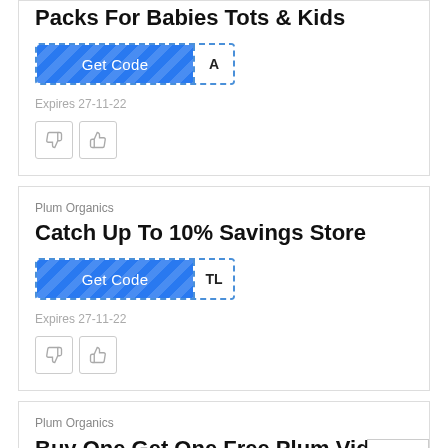Packs For Babies Tots & Kids
[Figure (screenshot): Get Code button with striped blue background and code letter A]
Expires 27-11-22
[Figure (other): Thumbs down and thumbs up vote buttons]
Plum Organics
Catch Up To 10% Savings Store
[Figure (screenshot): Get Code button with striped blue background and code letters TL]
Expires 27-11-22
[Figure (other): Thumbs down and thumbs up vote buttons]
Plum Organics
Buy One Get One Free Plum Vida Variety Pack